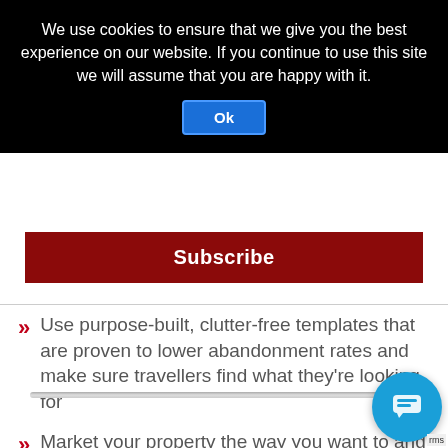We use cookies to ensure that we give you the best experience on our website. If you continue to use this site we will assume that you are happy with it.
Subscribe
Use purpose-built, clutter-free templates that are proven to lower abandonment rates and make sure travellers find what they're looking for
Market your property the way you want to and show every visitor why they should absolutely book with you